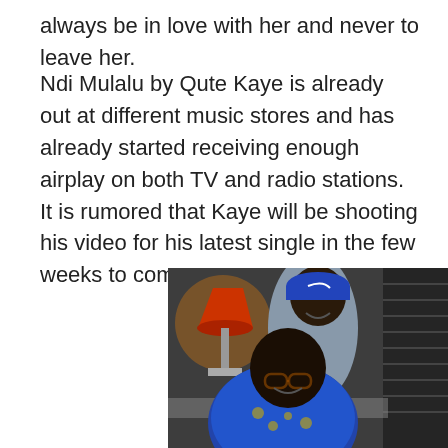always be in love with her and never to leave her.
Ndi Mulalu by Qute Kaye is already out at different music stores and has already started receiving enough airplay on both TV and radio stations. It is rumored that Kaye will be shooting his video for his latest single in the few weeks to come.
[Figure (photo): Two men posing together in what appears to be a recording studio. The man in the back is wearing a blue hoodie and blue cap. The man in front is wearing glasses and a floral blue and gold shirt. A lamp is visible in the background along with acoustic panels.]